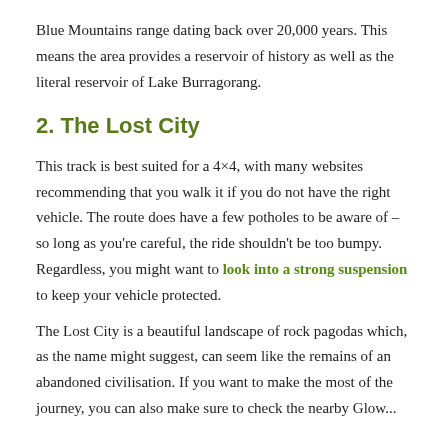Blue Mountains range dating back over 20,000 years. This means the area provides a reservoir of history as well as the literal reservoir of Lake Burragorang.
2. The Lost City
This track is best suited for a 4×4, with many websites recommending that you walk it if you do not have the right vehicle. The route does have a few potholes to be aware of – so long as you're careful, the ride shouldn't be too bumpy. Regardless, you might want to look into a strong suspension to keep your vehicle protected.
The Lost City is a beautiful landscape of rock pagodas which, as the name might suggest, can seem like the remains of an abandoned civilisation. If you want to make the most of the journey, you can also make sure to check the nearby Glow...